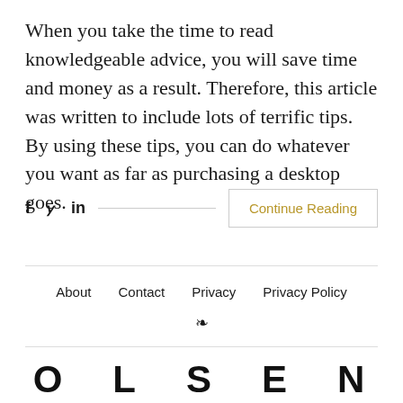When you take the time to read knowledgeable advice, you will save time and money as a result. Therefore, this article was written to include lots of terrific tips. By using these tips, you can do whatever you want as far as purchasing a desktop goes.
f  y  in  [social share icons]  Continue Reading
About  Contact  Privacy  Privacy Policy  [RSS]
O L S E N